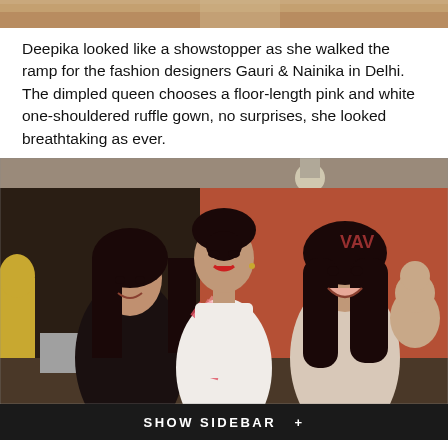[Figure (photo): Top strip showing partial image, tan/beige tones]
Deepika looked like a showstopper as she walked the ramp for the fashion designers Gauri & Nainika in Delhi. The dimpled queen chooses a floor-length pink and white one-shouldered ruffle gown, no surprises, she looked breathtaking as ever.
[Figure (photo): Photo of Deepika Padukone in a pink and white one-shouldered ruffle gown standing with two fashion designers Gauri and Nainika at a fashion show in Delhi. Deepika is in the center, taller, wearing a distinctive pink-striped ruffle gown. Two women with long dark hair flank her on each side, all smiling. Background shows an orange/terracotta wall and fashion show setting.]
SHOW SIDEBAR +